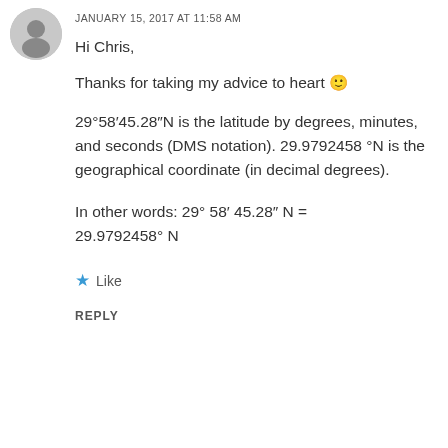[Figure (photo): Circular avatar photo of a person]
JANUARY 15, 2017 AT 11:58 AM
Hi Chris,
Thanks for taking my advice to heart 🙂
29°58′45.28″N is the latitude by degrees, minutes, and seconds (DMS notation). 29.9792458 °N is the geographical coordinate (in decimal degrees).
In other words: 29° 58′ 45.28″ N = 29.9792458° N
★ Like
REPLY